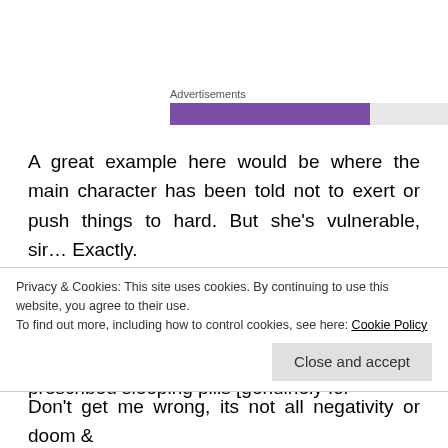[Figure (other): Advertisements progress bar with purple fill and grey empty section]
A great example here would be where the main character has been told not to exert or push things to hard. But she’s vulnerable, sir… Exactly.
I also smiled to myself when someone who has pretty much witnessed a couple or so deaths, namely suicides in her life, was prescribed sleeping pills [genuinely for
Privacy & Cookies: This site uses cookies. By continuing to use this website, you agree to their use.
To find out more, including how to control cookies, see here: Cookie Policy
Close and accept
Don’t get me wrong, its not all negativity or doom &